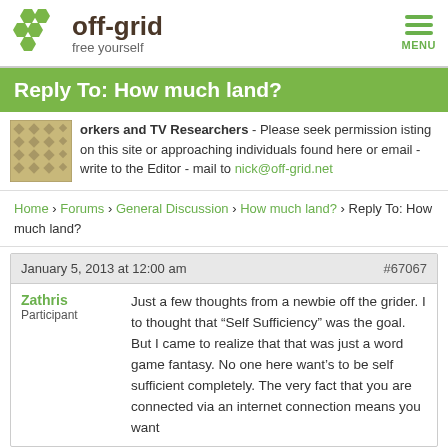[Figure (logo): off-grid free yourself logo with green honeycomb hexagons and menu button]
Reply To: How much land?
orkers and TV Researchers - Please seek permission sting on this site or approaching individuals found here or email - write to the Editor - mail to nick@off-grid.net
Home › Forums › General Discussion › How much land? › Reply To: How much land?
January 5, 2013 at 12:00 am  #67067
Zathris
Participant
Just a few thoughts from a newbie off the grider. I to thought that “Self Sufficiency” was the goal. But I came to realize that that was just a word game fantasy. No one here want’s to be self sufficient completely. The very fact that you are connected via an internet connection means you want